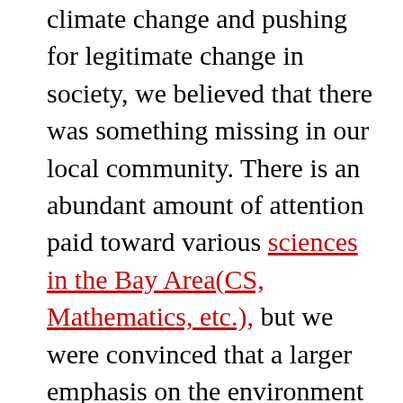climate change and pushing for legitimate change in society, we believed that there was something missing in our local community. There is an abundant amount of attention paid toward various sciences in the Bay Area(CS, Mathematics, etc.), but we were convinced that a larger emphasis on the environment and climate change awareness- specifically directed towards elementary and middle school students – in the Bay Area was something missing in our community. And we saw the Bioma Project as a valiant effort in promoting a positive change in our community. The Bioma Project maintains the belief that people can only care about a certain issue if they have